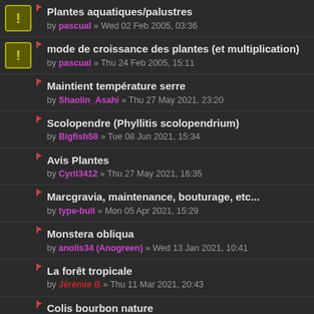Plantes aquatiques/palustres by pascual » Wed 02 Feb 2005, 03:36
mode de croissance des plantes (et multiplication) by pascual » Thu 24 Feb 2005, 15:11
Maintient température serre by Shaolin_Asahi » Thu 27 May 2021, 23:20
Scolopendre (Phyllitis scolopendrium) by Bigfish58 » Tue 08 Jun 2021, 15:34
Avis Plantes by Cyril3412 » Thu 27 May 2021, 16:35
Marcgravia, maintenance, bouturage, etc... by type-bull » Mon 05 Apr 2021, 15:29
Monstera obliqua by anolis34 (Anogreen) » Wed 13 Jan 2021, 10:41
La forêt tropicale by Jérémie B » Thu 11 Mar 2021, 20:43
Colis bourbon nature by Son of Terra » Sat 30 Jan 2021, 10:37
Conseil choix plante rare by MudBoy » Fri 29 Jan 2021, 12:48
Identification broméliacée by Son of Terra » Sun 17 Jan 2021, 22:02
Floraison Lacasthas